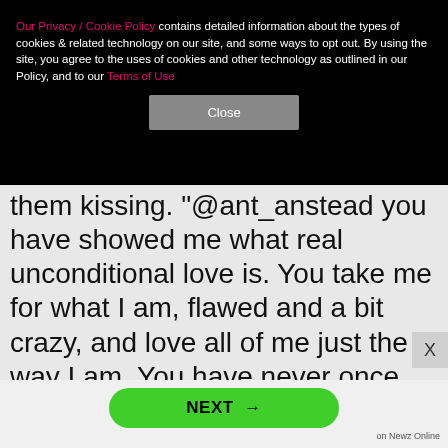Our Privacy / Cookie Policy contains detailed information about the types of cookies & related technology on our site, and some ways to opt out. By using the site, you agree to the uses of cookies and other technology as outlined in our Policy, and to our Terms of Use
Close
them kissing. "@ant_anstead you have showed me what real unconditional love is. You take me for what I am, flawed and a bit crazy, and love all of me just the way I am. You have never once made me feel bad for anything in my past. You put me in my place when I need to be put there. Hold me when I'm having a bad day. I love this life with you. I love our blended family. I can't wait to see where the next year takes us. I know it's going to be magical. ❤️🙏🏼 To quote my fav artist 'Wi
NEXT →
on Newz Online